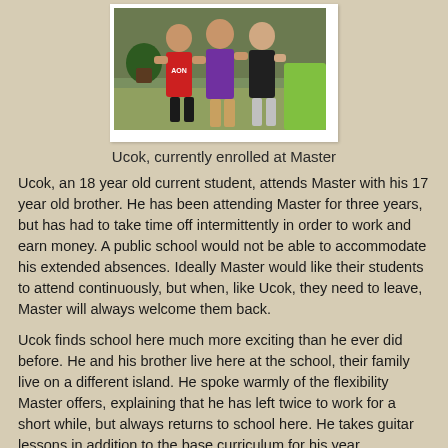[Figure (photo): Three young people standing together outdoors; one in a red AON shirt, one in a purple shirt, one in a black shirt.]
Ucok, currently enrolled at Master
Ucok, an 18 year old current student, attends Master with his 17 year old brother. He has been attending Master for three years, but has had to take time off intermittently in order to work and earn money. A public school would not be able to accommodate his extended absences. Ideally Master would like their students to attend continuously, but when, like Ucok, they need to leave, Master will always welcome them back.
Ucok finds school here much more exciting than he ever did before. He and his brother live here at the school, their family live on a different island. He spoke warmly of the flexibility Master offers, explaining that he has left twice to work for a short while, but always returns to school here. He takes guitar lessons in addition to the base curriculum for his year.